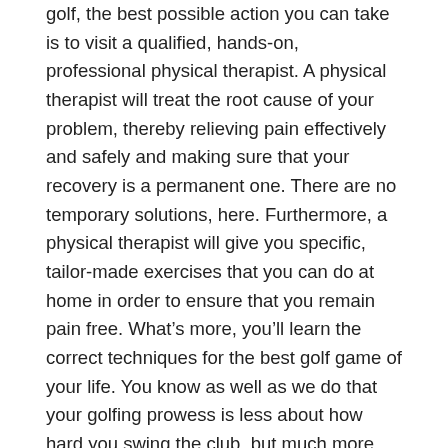golf, the best possible action you can take is to visit a qualified, hands-on, professional physical therapist. A physical therapist will treat the root cause of your problem, thereby relieving pain effectively and safely and making sure that your recovery is a permanent one. There are no temporary solutions, here. Furthermore, a physical therapist will give you specific, tailor-made exercises that you can do at home in order to ensure that you remain pain free. What's more, you'll learn the correct techniques for the best golf game of your life. You know as well as we do that your golfing prowess is less about how hard you swing the club, but much more about how you do it. Find out what's best for you by visiting a physical therapist today.
We know how debilitating shoulder pain can be, especially if you love golf. Unfortunately, getting back into the swing of things can be a struggle. If you're not sure how to do it, or where to start, we invite you to talk to one of our professional, friendly physical therapists, today. We'll eliminate your pain and get you back to playing the game you love. Ask below about cost and availability.